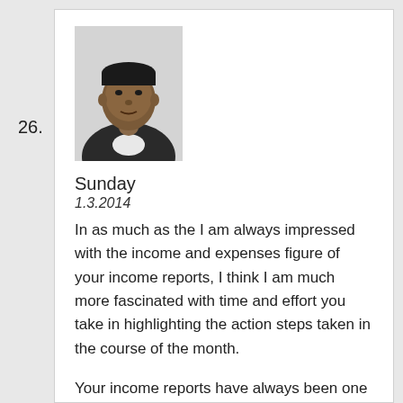26.
[Figure (photo): Headshot photo of a man in a dark jacket against a light background]
Sunday
1.3.2014
In as much as the I am always impressed with the income and expenses figure of your income reports, I think I am much more fascinated with time and effort you take in highlighting the action steps taken in the course of the month.
Your income reports have always been one of the best I access online because of the practical details.